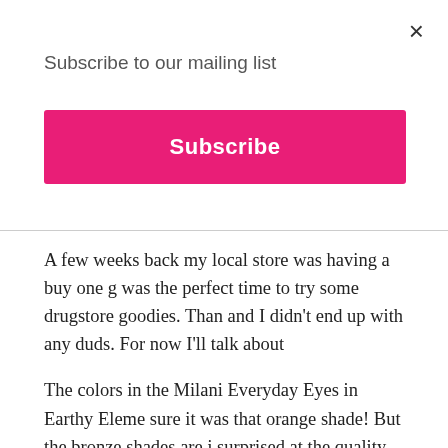Subscribe to our mailing list
×
Subscribe
A few weeks back my local store was having a buy one g... was the perfect time to try some drugstore goodies. Than... and I didn't end up with any duds. For now I'll talk about...
The colors in the Milani Everyday Eyes in Earthy Eleme... sure it was that orange shade! But the bronze shades are j... surprised at the quality of this palette. A few of the shades... but those bronze shades are buttery soft! The shadows are... them only required one swipe! The others did require son... They all applied and blended beautifully! Including the li... the liner shade I wet my brush a bit to make the color star... before applying the lid shade. Then I pat the shadow onto... experience a little creasing after about 8-9 hours of wear.... strong. You can see my look below.